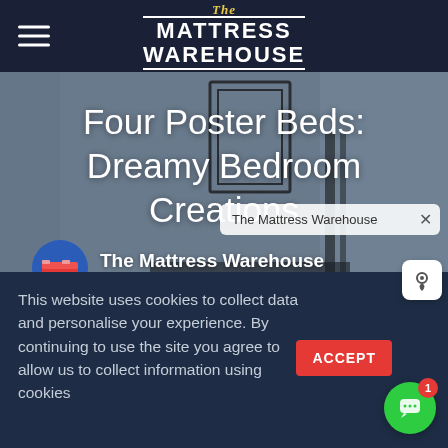[Figure (screenshot): The Mattress Warehouse website screenshot showing a navigation bar with hamburger menu and logo, a hero image of a bedroom with a four poster bed, article title, author avatar, tooltip popup, cookie consent banner, accept button, location icon, and chat widget.]
Four Poster Beds: Dreamy Bedroom Creations
The Mattress Warehouse
The Mattress Warehouse
This website uses cookies to collect data and personalise your experience. By continuing to use the site you agree to allow us to collect information using cookies